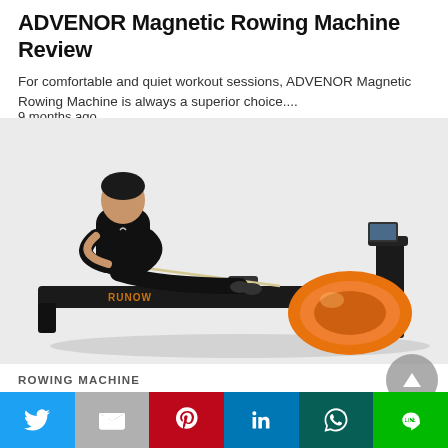ADVENOR Magnetic Rowing Machine Review
For comfortable and quiet workout sessions, ADVENOR Magnetic Rowing Machine is always a superior choice....
9 months ago
[Figure (photo): Person in black athletic wear using a water rowing machine (Runow brand) with orange water tank resistance chamber on a white background]
ROWING MACHINE
[Figure (infographic): Social media share bar with Twitter, Gmail, Pinterest, LinkedIn, WhatsApp, and LINE buttons]